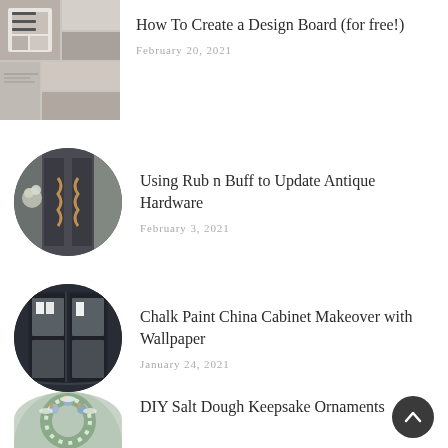[Figure (photo): Hamburger menu icon top-left]
[Figure (photo): Circular thumbnail collage of design board images; top-left area with grid of interior design photos]
How To Create a Design Board (for free!)
February 20, 2021
[Figure (photo): Circular thumbnail of dark cabinet doors with ornate copper handles and floral arrangements]
Using Rub n Buff to Update Antique Hardware
February 3, 2021
[Figure (photo): Circular thumbnail of dark navy china cabinet with glass doors and white dishware inside]
Chalk Paint China Cabinet Makeover with Wallpaper
January 24, 2021
[Figure (photo): Circular thumbnail of snow-flocked Christmas wreath with blue ornaments]
DIY Salt Dough Keepsake Ornaments
[Figure (other): Scroll-to-top arrow button in dark circle, bottom right]